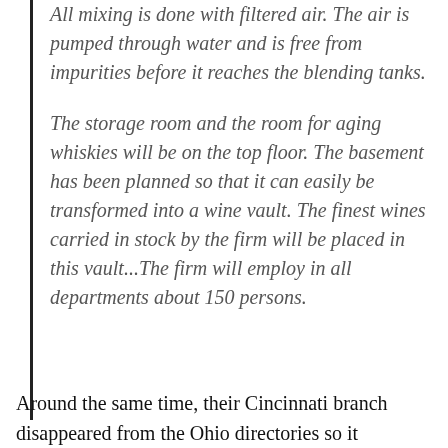All mixing is done with filtered air. The air is pumped through water and is free from impurities before it reaches the blending tanks.
The storage room and the room for aging whiskies will be on the top floor. The basement has been planned so that it can easily be transformed into a wine vault. The finest wines carried in stock by the firm will be placed in this vault…The firm will employ in all departments about 150 persons.
Around the same time, their Cincinnati branch disappeared from the Ohio directories so it